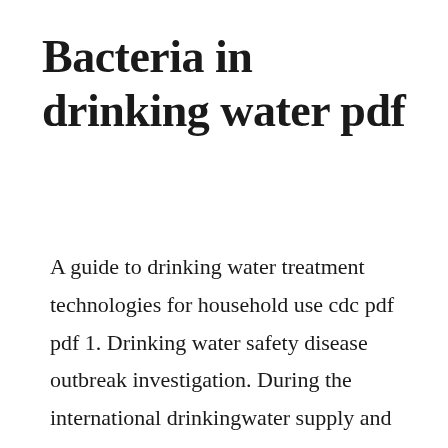Bacteria in drinking water pdf
A guide to drinking water treatment technologies for household use cdc pdf pdf 1. Drinking water safety disease outbreak investigation. During the international drinkingwater supply and sanitation decade. Research article rapid microbial growth in reusable drinking.